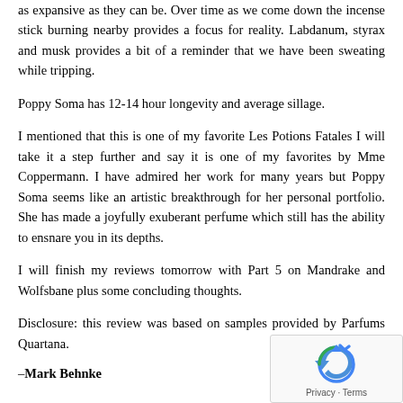as expansive as they can be. Over time as we come down the incense stick burning nearby provides a focus for reality. Labdanum, styrax and musk provides a bit of a reminder that we have been sweating while tripping.
Poppy Soma has 12-14 hour longevity and average sillage.
I mentioned that this is one of my favorite Les Potions Fatales I will take it a step further and say it is one of my favorites by Mme Coppermann. I have admired her work for many years but Poppy Soma seems like an artistic breakthrough for her personal portfolio. She has made a joyfully exuberant perfume which still has the ability to ensnare you in its depths.
I will finish my reviews tomorrow with Part 5 on Mandrake and Wolfsbane plus some concluding thoughts.
Disclosure: this review was based on samples provided by Parfums Quartana.
–Mark Behnke